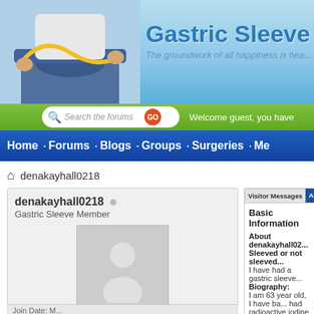[Figure (screenshot): Gastric Sleeve forum website header banner with woman measuring waist, site title 'Gastric Sleeve' and tagline 'The groundwork of all happiness is hea...']
Welcome guest, you have
Home • Forums • Blogs • Groups • Surgeries • Me
denakayhall0218
denakayhall0218 ○
Gastric Sleeve Member
Find latest posts
Find latest started threads
View Blog Entries
Visitor Messages
About M
Basic Information
About denakayhall02...
Sleeved or not sleeved...
I have had a gastric sleeve...
Biography:
I am 63 year old, I have ba... had radioactive iodine to di... problem. I am always cold,... gain so much and it is impo...